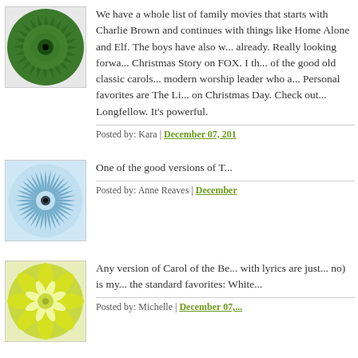[Figure (illustration): Green spiral/mandala avatar image for user Kara]
We have a whole list of family movies that starts with Charlie Brown and continues with things like Home Alone and Elf. The boys have also watched Christmas Vacation already. Really looking forward to watching A Christmas Story on FOX. I th... of the good old classic carols... modern worship leader who a... Personal favorites are The Li... on Christmas Day. Check out... Longfellow. It's powerful.
Posted by: Kara | December 07, 201...
[Figure (illustration): Light blue geometric mandala avatar image for user Anne Reaves]
One of the good versions of T...
Posted by: Anne Reaves | December...
[Figure (illustration): Yellow-green flower/star pattern avatar image for user Michelle]
Any version of Carol of the Be... with lyrics are just... no) is my... the standard favorites: White...
Posted by: Michelle | December 07,...